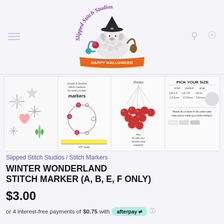[Figure (logo): Slipped Stitch Studios logo with cartoon sheep wearing a witch hat, surrounded by yarn and text 'Happy Halloween' on an orange banner, with purple cursive text 'Slipped Stitch Studios' arcing over top]
[Figure (photo): Product image strip showing four panels of Winter Wonderland stitch markers: left panel shows individual snowflake and crystal charms, second panel shows circular marker arrangement with text about markers and yellow highlighted bar, third panel shows a berry/red bead arrangement with 'Relax' text, fourth panel shows 'PICK YOUR SIZE' guide with size chart and instruction text]
Slipped Stitch Studios / Stitch Markers
WINTER WONDERLAND STITCH MARKER (A, B, E, F ONLY)
$3.00
or 4 interest-free payments of $0.75 with afterpay